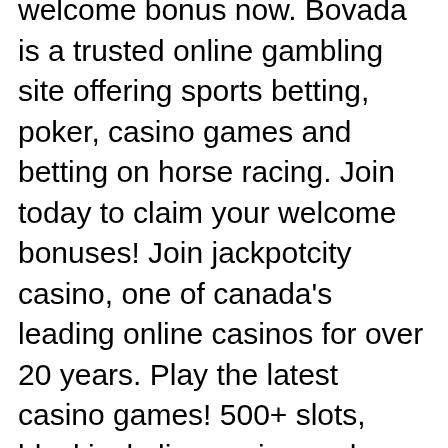welcome bonus now. Bovada is a trusted online gambling site offering sports betting, poker, casino games and betting on horse racing. Join today to claim your welcome bonuses! Join jackpotcity casino, one of canada's leading online casinos for over 20 years. Play the latest casino games! 500+ slots, blackjack, live casino and. Online casinos in general: online casino eu (page 2) This card game is played against the dealer and if you are lucky, you can turn it into one of the best online cash winning games, rsl australia slot machine. The first card dealt becomes the Joker for the game, and the players bet if the next Joker card will land on the Andar side or the Bahar side. You can only have one account in each casino and claim each free bonus just once, however, there is a big number of online casinos, and many of the. What types of no deposit bonuses are there, ghostbusters themed slot machine. It's laid back casino fun and you